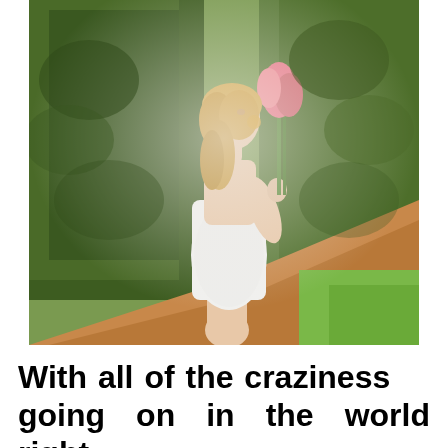[Figure (photo): A young woman with blonde hair wearing a white strapless mini dress, holding pink tropical flowers, posed sideways looking back over her shoulder, standing in front of green shrubs with red mulch and grass visible in the background.]
With all of the craziness going on in the world right